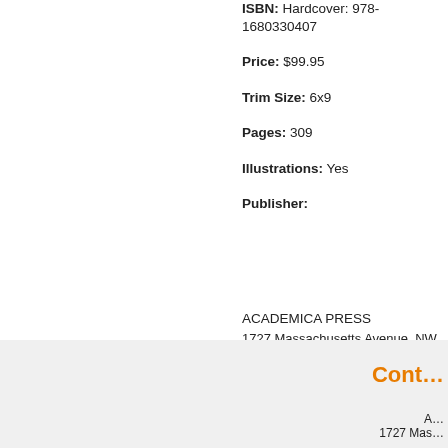ISBN: Hardcover: 978-1680330407
Price: $99.95
Trim Size: 6x9
Pages: 309
Illustrations: Yes
Publisher:
ACADEMICA PRESS
1727 Massachusetts Avenue, NW, Suite 50
Washington, DC 20036
academicapress.editorial@gmail.com
American Studies    Literature and Litera...
Cont...
A...
1727 Mas...